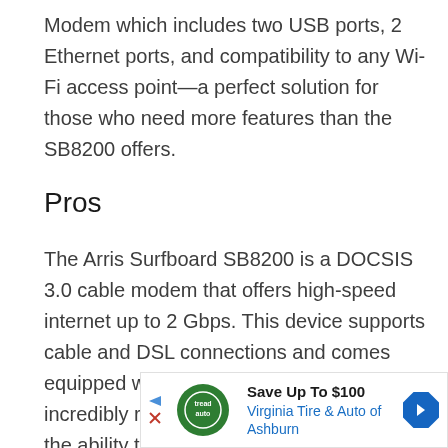Modem which includes two USB ports, 2 Ethernet ports, and compatibility to any Wi-Fi access point—a perfect solution for those who need more features than the SB8200 offers.
Pros
The Arris Surfboard SB8200 is a DOCSIS 3.0 cable modem that offers high-speed internet up to 2 Gbps. This device supports cable and DSL connections and comes equipped with Gigabit Ethernet ports, incredibly reliable Wi-Fi performance, and the ability to connect
[Figure (other): Advertisement banner for Virginia Tire & Auto of Ashburn with 'Save Up To $100' offer, showing company logo, text, and navigation arrow icon.]